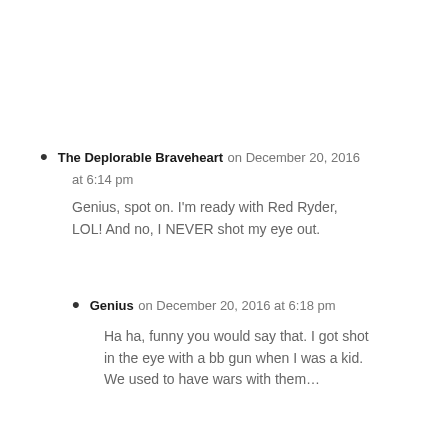The Deplorable Braveheart on December 20, 2016 at 6:14 pm
Genius, spot on. I'm ready with Red Ryder, LOL! And no, I NEVER shot my eye out.
Genius on December 20, 2016 at 6:18 pm
Ha ha, funny you would say that. I got shot in the eye with a bb gun when I was a kid. We used to have wars with them…